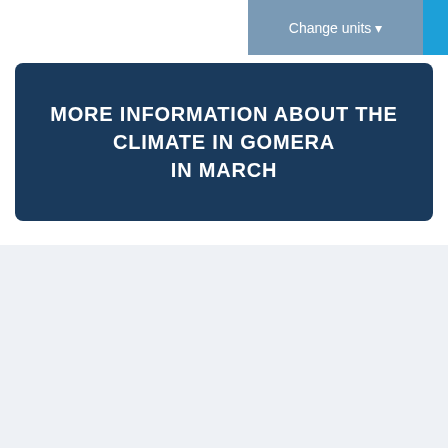Change units
MORE INFORMATION ABOUT THE CLIMATE IN GOMERA IN MARCH